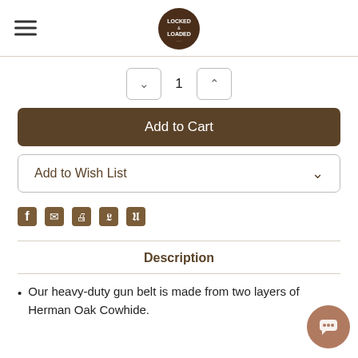Locked & Loaded (logo)
1
Add to Cart
Add to Wish List
[Figure (infographic): Social share icons: Facebook, Email, Print, Twitter, Pinterest]
Description
Our heavy-duty gun belt is made from two layers of Herman Oak Cowhide.